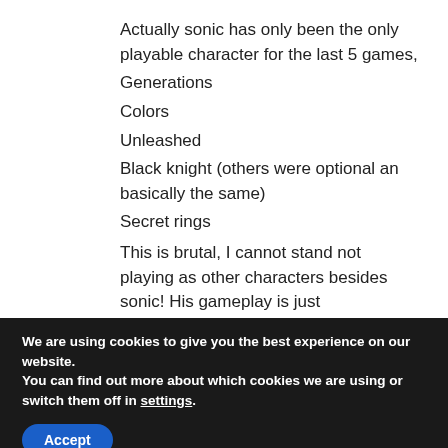Actually sonic has only been the only playable character for the last 5 games,
Generations
Colors
Unleashed
Black knight (others were optional an basically the same)
Secret rings
This is brutal, I cannot stand not playing as other characters besides sonic! His gameplay is just
We are using cookies to give you the best experience on our website.
You can find out more about which cookies we are using or switch them off in settings.
Accept